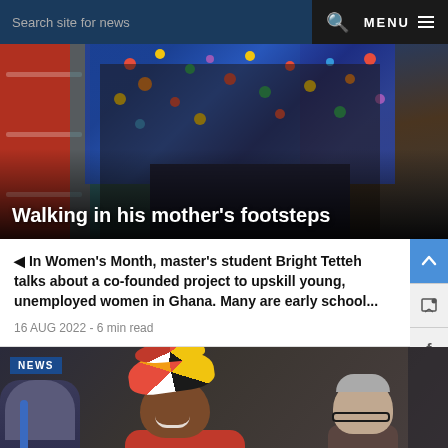Search site for news  MENU
[Figure (photo): Hero image of a person in colorful African print fabric, red filing cabinet on left, teal wall background, with overlay text 'Walking in his mother's footsteps']
Walking in his mother’s footsteps
◄︎ In Women’s Month, master’s student Bright Tetteh talks about a co-founded project to upskill young, unemployed women in Ghana. Many are early school...
16 AUG 2022 - 6 min read
[Figure (photo): Photo of people at an event; a woman with a colorful red/yellow/black African headwrap and red top is smiling in the foreground; another person with glasses is visible in the background; 'NEWS' badge in top-left corner]